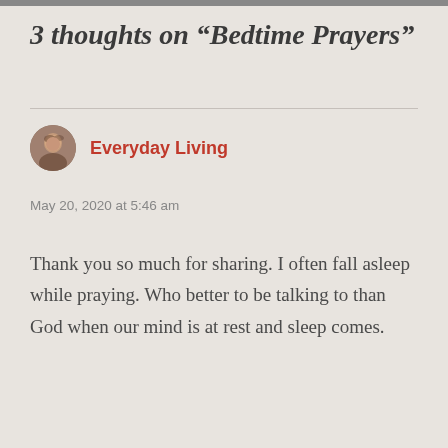3 thoughts on “Bedtime Prayers”
Everyday Living
May 20, 2020 at 5:46 am
Thank you so much for sharing. I often fall asleep while praying. Who better to be talking to than God when our mind is at rest and sleep comes.